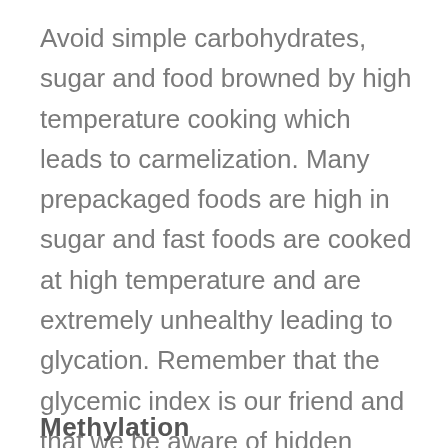Avoid simple carbohydrates, sugar and food browned by high temperature cooking which leads to carmelization. Many prepackaged foods are high in sugar and fast foods are cooked at high temperature and are extremely unhealthy leading to glycation. Remember that the glycemic index is our friend and that we be aware of hidden sugars. Smoothies have become a very popular health food but when using a blending process you can turn a complex carbohydrate into a simple carbohydrate with resulting spikes in blood sugar and glycation.
Methylation